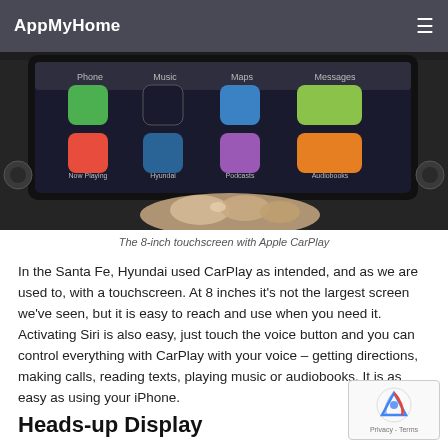AppMyHome
[Figure (photo): A hand touching an 8-inch Hyundai Santa Fe touchscreen showing Apple CarPlay interface with app icons including Phone, Music, Maps, Messages, Now Playing, Hyundai, Podcasts, and Audiobooks.]
The 8-inch touchscreen with Apple CarPlay
In the Santa Fe, Hyundai used CarPlay as intended, and as we are used to, with a touchscreen. At 8 inches it's not the largest screen we've seen, but it is easy to reach and use when you need it. Activating Siri is also easy, just touch the voice button and you can control everything with CarPlay with your voice – getting directions, making calls, reading texts, playing music or audiobooks. It is as easy as using your iPhone.
Heads-up Display